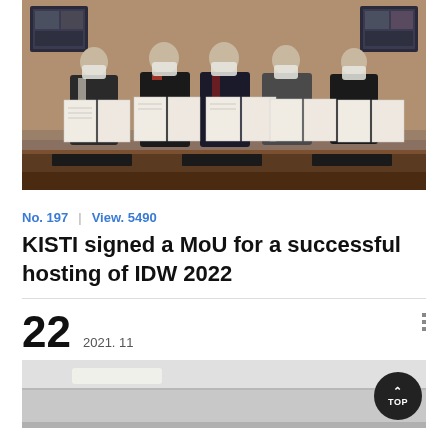[Figure (photo): Group photo of five people in masks holding MoU documents at a formal signing ceremony. Two video screens visible in the background. A wooden conference table with nameplates at the bottom.]
No. 197  |  View. 5490
KISTI signed a MoU for a successful hosting of IDW 2022
22  2021. 11
[Figure (photo): Partial view of an interior room, likely a conference or office setting, with a ceiling light visible.]